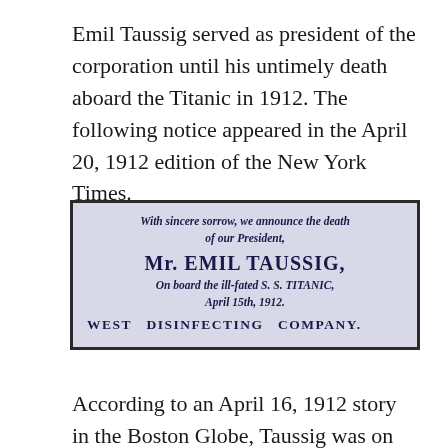Emil Taussig served as president of the corporation until his untimely death aboard the Titanic in 1912. The following notice appeared in the April 20, 1912 edition of the New York Times.
[Figure (photo): A scanned newspaper notice from the New York Times, April 20, 1912, reading: 'With sincere sorrow, we announce the death of our President, Mr. EMIL TAUSSIG, On board the ill-fated S. S. TITANIC, April 15th, 1912. WEST DISINFECTING COMPANY.']
According to an April 16, 1912 story in the Boston Globe, Taussig was on board the ship